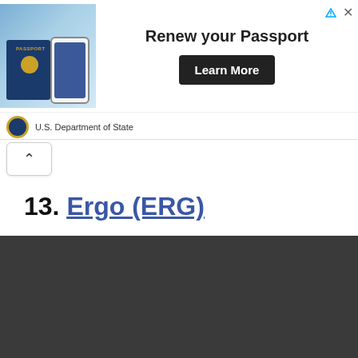[Figure (infographic): Advertisement banner for U.S. Department of State passport renewal. Shows a passport book and smartphone on a colorful map background on the left. Center text reads 'Renew your Passport' with a 'Learn More' black button. Bottom shows U.S. Department of State seal and name. Top right has ad icons (triangle and X).]
[Figure (other): Collapse/chevron-up button (^) in a rounded rectangle, used to collapse the advertisement banner.]
13. Ergo (ERG)
[Figure (other): Dark gray/charcoal rectangular section occupying the bottom portion of the page, likely a collapsed content area or embedded widget.]